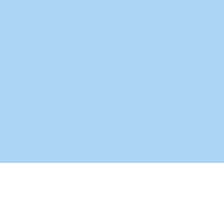Low: 74
A 30% chance of showers Mostly cloudy with a East southeast wind
Thursday
T-storms L
High: 9
Showers and thunder Mostly sunny with a Calm wind be southeast around 5 mph Chance of precipit
Source: National Wea
Weather News and Weather Reports F
Copyright 1997-2020, w
All specifications subject to c